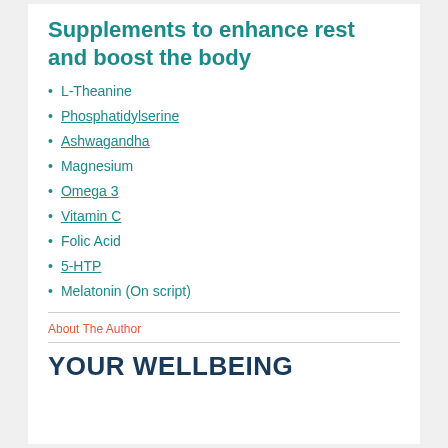Supplements to enhance rest and boost the body
L-Theanine
Phosphatidylserine
Ashwagandha
Magnesium
Omega 3
Vitamin C
Folic Acid
5-HTP
Melatonin (On script)
About The Author
YOUR WELLBEING